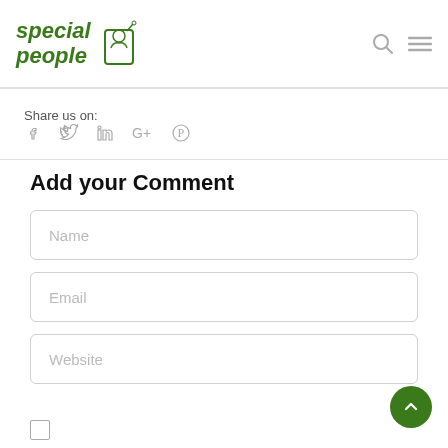special people
Share us on: Facebook Twitter LinkedIn Google+ Pinterest
Add your Comment
Name
Email
Website